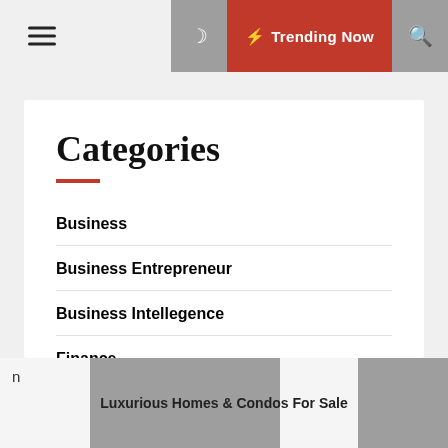≡ ☾ ⚡ Trending Now 🔍
Categories
Business
Business Entrepreneur
Business Intellegence
Finance
General Article
Insurance
n   Luxurious Homes & Condos For Sale